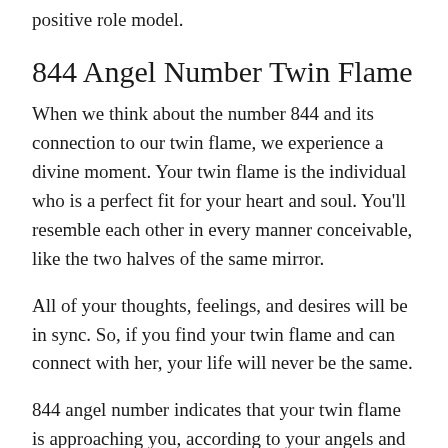positive role model.
844 Angel Number Twin Flame
When we think about the number 844 and its connection to our twin flame, we experience a divine moment. Your twin flame is the individual who is a perfect fit for your heart and soul. You'll resemble each other in every manner conceivable, like the two halves of the same mirror.
All of your thoughts, feelings, and desires will be in sync. So, if you find your twin flame and can connect with her, your life will never be the same.
844 angel number indicates that your twin flame is approaching you, according to your angels and ascended masters.